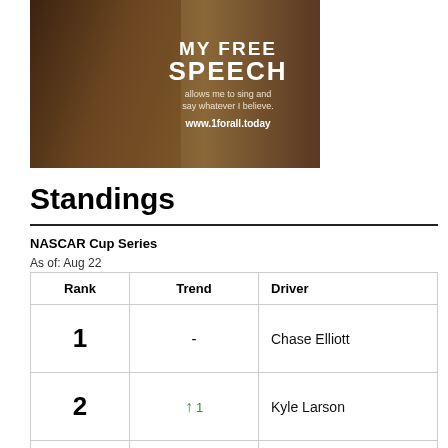[Figure (photo): Advertisement image with sepia-toned guitarist background. Text reads: MY FREE SPEECH allows me to sing and say whatever I believe. www.1forall.today]
Standings
NASCAR Cup Series
As of: Aug 22
| Rank | Trend | Driver |
| --- | --- | --- |
| 1 | - | Chase Elliott |
| 2 | ↑ 1 | Kyle Larson |
| 3 | ↓ 1 | Ryan Blaney |